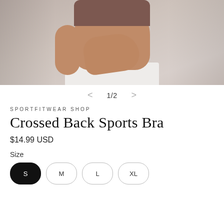[Figure (photo): Cropped torso of a woman wearing a brown/mauve crossed back sports bra and white athletic bottoms, posed against a light grey background. Her hands are clasped at her waist.]
1/2
SPORTFITWEAR SHOP
Crossed Back Sports Bra
$14.99 USD
Size
S  M  L  XL